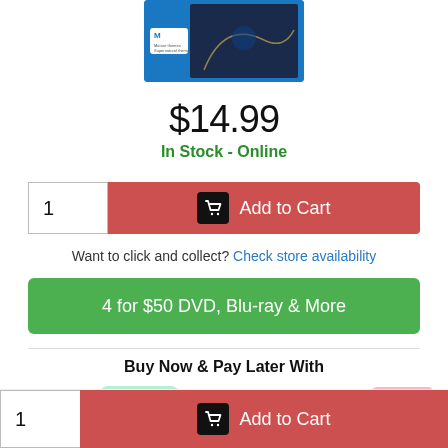[Figure (photo): Product image - Blu-ray DVD case with blue background, M rating badge]
$14.99
In Stock - Online
1
Add to Cart
Want to click and collect? Check store availability
4 for $50 DVD, Blu-ray & More
Buy Now & Pay Later With
[Figure (logo): PayPal logo]
[Figure (logo): Afterpay logo]
[Figure (logo): Zip logo]
[Figure (logo): Humm logo]
[Figure (logo): Klarna logo]
1
Add to Cart